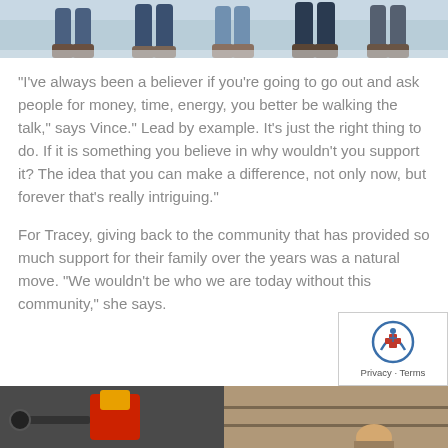[Figure (photo): Bottom portion of people standing in snow, showing legs and feet in jeans and boots]
“I’ve always been a believer if you’re going to go out and ask people for money, time, energy, you better be walking the talk,” says Vince.” Lead by example. It’s just the right thing to do. If it is something you believe in why wouldn’t you support it?  The idea that you can make a difference, not only now, but forever that’s really intriguing.”
For Tracey, giving back to the community that has provided so much support for their family over the years was a natural move. “We wouldn’t be who we are today without this community,” she says.
[Figure (photo): Two photos side by side at the bottom of the page; left shows equipment with red and yellow object, right shows interior scene with a person]